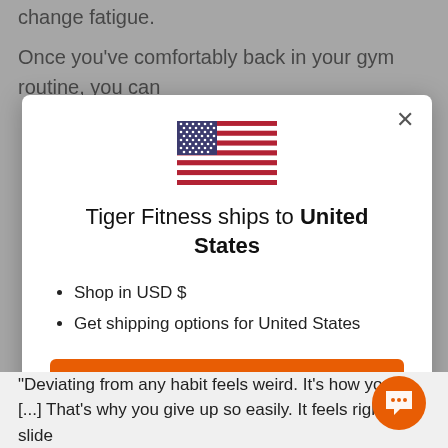change fatigue.
Once you've comfortably back in your gym routine, you can
[Figure (illustration): US flag icon above a modal dialog]
Tiger Fitness ships to United States
Shop in USD $
Get shipping options for United States
Shop now
Change shipping country
"Deviating from any habit feels weird. It's how you're [...] That's why you give up so easily. It feels right to slide